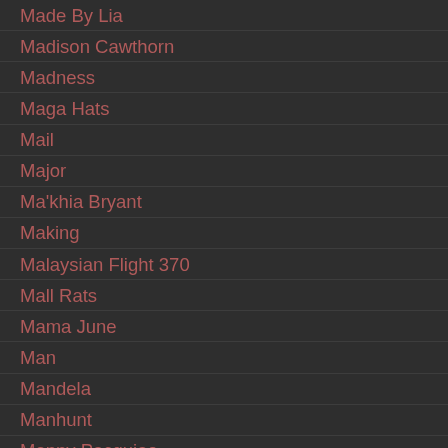Made By Lia
Madison Cawthorn
Madness
Maga Hats
Mail
Major
Ma'khia Bryant
Making
Malaysian Flight 370
Mall Rats
Mama June
Man
Mandela
Manhunt
Manny Pacquiao
Manti
Marathon
March
March Madness
Marco
Marcus Boston